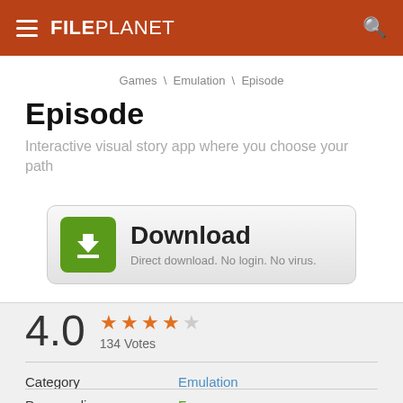FILEPLANET
Games \ Emulation \ Episode
Episode
Interactive visual story app where you choose your path
[Figure (other): Download button with green download icon, bold text 'Download', and subtext 'Direct download. No login. No virus.']
4.0  ★★★★☆  134 Votes
Category  Emulation
Program license  Free